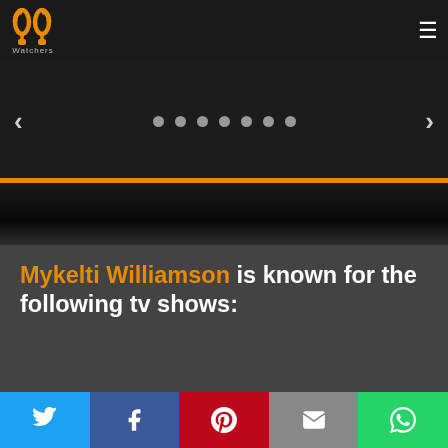[Figure (logo): PP Watchers logo - orange stylized headphone/antenna icon with text 'Watchers' below]
[Figure (screenshot): Website navigation bar with hamburger menu icon on right]
[Figure (screenshot): Image slider with left/right arrows and 7 navigation dots, orange bottom bar]
Mykelti Williamson is known for the following tv shows:
[Figure (screenshot): Filter input box with orange border and filter placeholder text]
[Figure (screenshot): Social sharing bar with Twitter, Facebook, Pinterest, Email, and WhatsApp buttons]